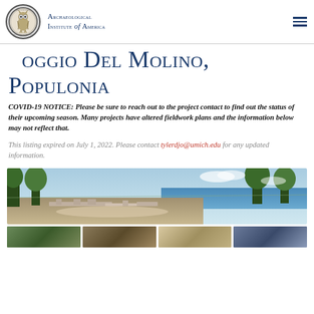Archaeological Institute of America
Poggio Del Molino, Populonia
COVID-19 NOTICE: Please be sure to reach out to the project contact to find out the status of their upcoming season. Many projects have altered fieldwork plans and the information below may not reflect that.
This listing expired on July 1, 2022. Please contact tylerdjo@umich.edu for any updated information.
[Figure (photo): Panoramic archaeological site photo showing excavated ruins with stone foundations, surrounded by trees, with blue sea and sky visible in the background at Poggio del Molino, Populonia]
[Figure (photo): Row of four thumbnail photos of the archaeological site]